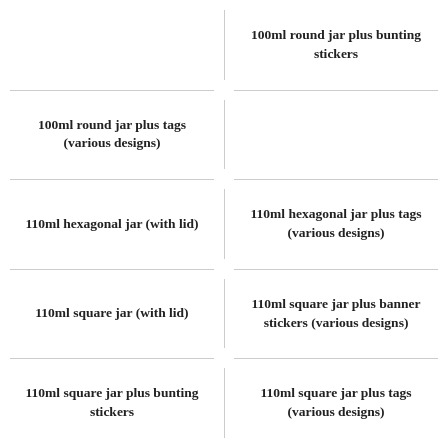100ml round jar plus bunting stickers
100ml round jar plus tags (various designs)
110ml hexagonal jar (with lid)
110ml hexagonal jar plus tags (various designs)
110ml square jar (with lid)
110ml square jar plus banner stickers (various designs)
110ml square jar plus bunting stickers
110ml square jar plus tags (various designs)